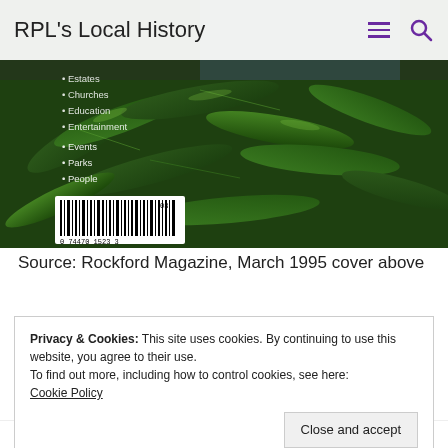RPL's Local History
[Figure (photo): Partial view of a magazine cover showing tropical green leaves/plants with a barcode visible in the lower left, and a partial menu overlay listing items: Estates, Churches, Education, Entertainment, Events, Parks, People]
Source: Rockford Magazine, March 1995 cover above
Privacy & Cookies: This site uses cookies. By continuing to use this website, you agree to their use.
To find out more, including how to control cookies, see here:
Cookie Policy
Close and accept